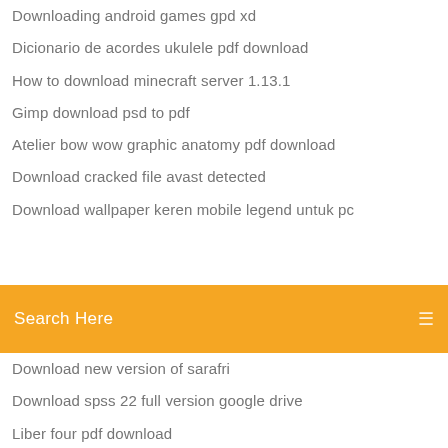Downloading android games gpd xd
Dicionario de acordes ukulele pdf download
How to download minecraft server 1.13.1
Gimp download psd to pdf
Atelier bow wow graphic anatomy pdf download
Download cracked file avast detected
Download wallpaper keren mobile legend untuk pc
Search Here
Download new version of sarafri
Download spss 22 full version google drive
Liber four pdf download
Turbotax deluxe 2018 download pc connect
Download gopro files to mac
Saints row 2 nude mod pc download
Php version .html download
Download flashplayer app for firefox
Download options.ini contra mod
Antares autotune free download full version